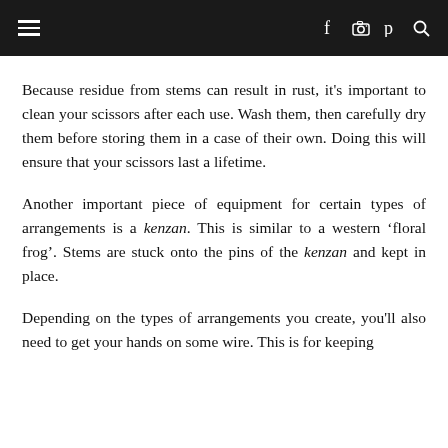[navigation bar with hamburger menu and social icons: f, camera, p, search]
Because residue from stems can result in rust, it's important to clean your scissors after each use. Wash them, then carefully dry them before storing them in a case of their own. Doing this will ensure that your scissors last a lifetime.
Another important piece of equipment for certain types of arrangements is a kenzan. This is similar to a western ‘floral frog’. Stems are stuck onto the pins of the kenzan and kept in place.
Depending on the types of arrangements you create, you'll also need to get your hands on some wire. This is for keeping